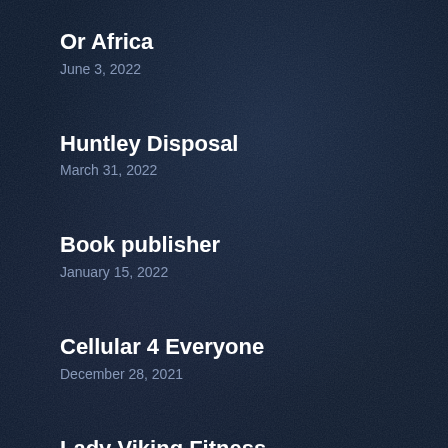Or Africa
June 3, 2022
Huntley Disposal
March 31, 2022
Book publisher
January 15, 2022
Cellular 4 Everyone
December 28, 2021
Lady Viking Fitness
July 26, 2022